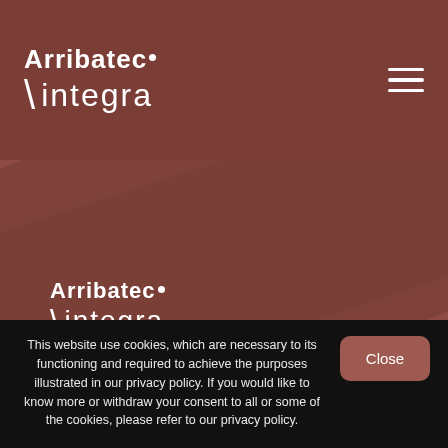[Figure (logo): Arribatec integra logo in navigation bar — 'Arribatec.' in bold white with dot, below a backslash followed by 'integra' in light weight white text]
[Figure (logo): Arribatec integra logo repeated in hero area — 'Arribatec.' bold white with dot, below backslash and 'integra' light weight white]
This website use cookies, which are necessary to its functioning and required to achieve the purposes illustrated in our privacy policy. If you would like to know more or withdraw your consent to all or some of the cookies, please refer to our privacy policy.